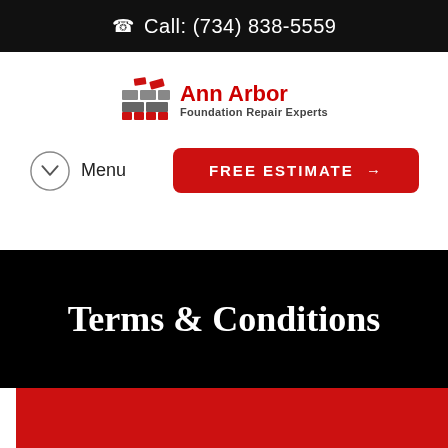Call: (734) 838-5559
[Figure (logo): Ann Arbor Foundation Repair Experts logo with brick/foundation icon in red and grey, company name in red bold text]
Menu
FREE ESTIMATE →
Terms & Conditions
[Figure (other): Red rectangle section at the bottom of the page]